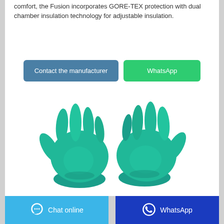comfort, the Fusion incorporates GORE-TEX protection with dual chamber insulation technology for adjustable insulation.
[Figure (other): Two teal/green protective gloves shown palm-up side by side]
Contact the manufacturer | WhatsApp
Chat online | WhatsApp